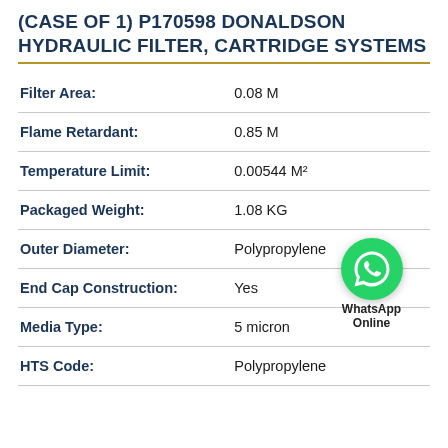(CASE OF 1) P170598 DONALDSON HYDRAULIC FILTER, CARTRIDGE SYSTEMS
| Specification | Value |
| --- | --- |
| Filter Area: | 0.08 M |
| Flame Retardant: | 0.85 M |
| Temperature Limit: | 0.00544 M² |
| Packaged Weight: | 1.08 KG |
| Outer Diameter: | Polypropylene |
| End Cap Construction: | Yes |
| Media Type: | 5 micron |
| HTS Code: | Polypropylene |
[Figure (logo): WhatsApp Online green icon with phone handset, labeled WhatsApp Online]